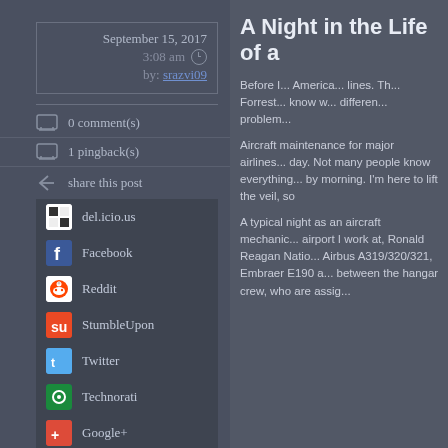September 15, 2017
3:08 am
by: srazvi09
0 comment(s)
1 pingback(s)
share this post
del.icio.us
Facebook
Reddit
StumbleUpon
Twitter
Technorati
Google+
comments RSS
A Night in the Life of a
Before I... America... lines. The... Forrest... know w... differen... problem...
Aircraft maintenance for major airlines... day. Not many people know everything... by morning. I'm here to lift the veil, so
A typical night as an aircraft mechanic... airport I work at, Ronald Reagan Natio... Airbus A319/320/321, Embraer E190 a... between the hangar crew, who are assig...